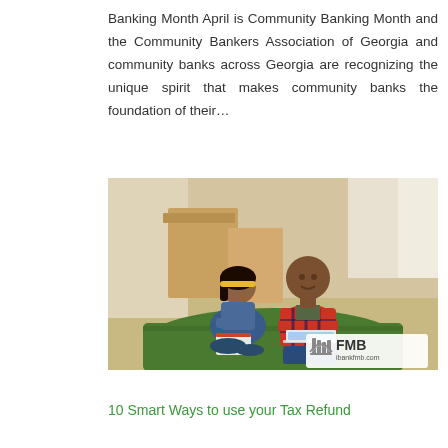Banking Month April is Community Banking Month and the Community Bankers Association of Georgia and community banks across Georgia are recognizing the unique spirit that makes community banks the foundation of their...
[Figure (photo): A couple sitting on a green rug on the floor of a new home surrounded by cardboard boxes. The woman is writing on a clipboard and the man is using a laptop. An FMB (ibankfmb.com) watermark logo appears in the lower right corner of the image.]
10 Smart Ways to use your Tax Refund